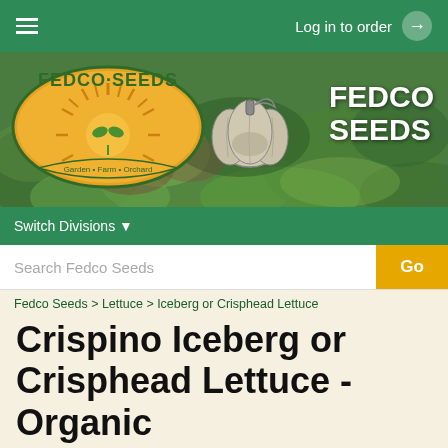Log in to order
[Figure (logo): Fedco Seeds banner with logo showing sun/plant oval logo reading 'Garden • Farm • Orchard', illustrated pumpkin, and FEDCO SEEDS text on garden background]
Switch Divisions ▼
Search Fedco Seeds   Go
Fedco Seeds > Lettuce > Iceberg or Crisphead Lettuce
Crispino Iceberg or Crisphead Lettuce - Organic
[Figure (photo): Partial photo of green lettuce plants in garden]